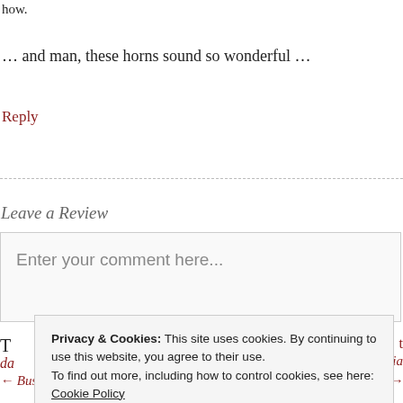how.
… and man, these horns sound so wonderful …
Reply
Leave a Review
Enter your comment here...
Privacy & Cookies: This site uses cookies. By continuing to use this website, you agree to their use.
To find out more, including how to control cookies, see here: Cookie Policy
Close and accept
T
da
← Business Records
Booksellers | Vox Audio →